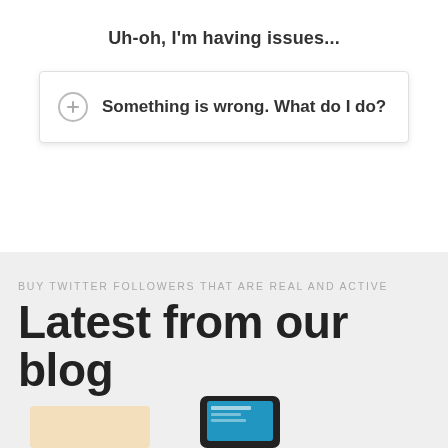Uh-oh, I'm having issues...
Something is wrong. What do I do?
BUY TWITTER FOLLOWERS THAT ARE REAL AND ACTIVE
Latest from our blog
[Figure (photo): Bottom strip showing partial view of a smartphone/mobile device screen]